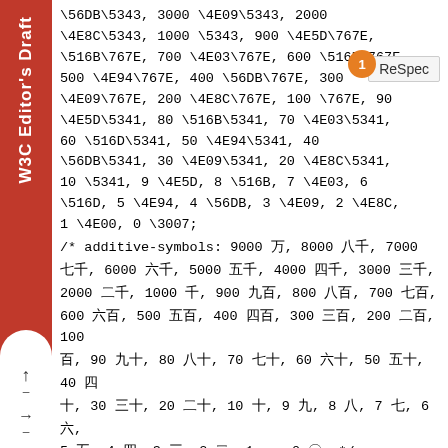W3C Editor's Draft
\56DB\5343, 3000 \4E09\5343, 2000 \4E8C\5343, 1000 \5343, 900 \4E5D\767E, \516B\767E, 700 \4E03\767E, 600 \516D\767E, 500 \4E94\767E, 400 \56DB\767E, 300 \4E09\767E, 200 \4E8C\767E, 100 \767E, 90 \4E5D\5341, 80 \516B\5341, 70 \4E03\5341, 60 \516D\5341, 50 \4E94\5341, 40 \56DB\5341, 30 \4E09\5341, 20 \4E8C\5341, 10 \5341, 9 \4E5D, 8 \516B, 7 \4E03, 6 \516D, 5 \4E94, 4 \56DB, 3 \4E09, 2 \4E8C, 1 \4E00, 0 \3007;
/* additive-symbols: 9000 万, 8000 八千, 7000 七千, 6000 六千, 5000 五千, 4000 四千, 3000 三千, 2000 二千, 1000 千, 900 九百, 800 八百, 700 七百, 600 六百, 500 五百, 400 四百, 300 三百, 200 二百, 100 百, 90 九十, 80 八十, 70 七十, 60 六十, 50 五十, 40 四十, 30 三十, 20 二十, 10 十, 9 九, 8 八, 7 七, 6 六, 5 五, 4 四, 3 三, 2 二, 1 一, 0 〇; */
suffix: '\3001';